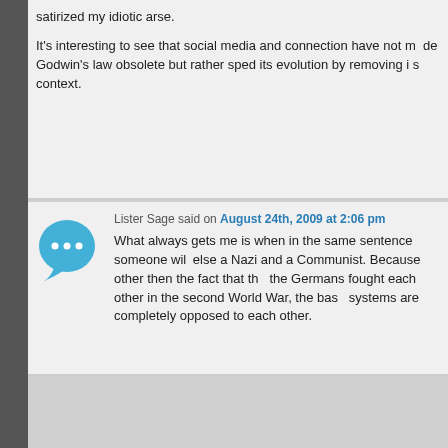satirized my idiotic arse.

It's interesting to see that social media and connection have not made Godwin's law obsolete but rather sped its evolution by removing its context.
Lister Sage said on August 24th, 2009 at 2:06 pm
What always gets me is when in the same sentence someone will call else a Nazi and a Communist. Because other then the fact that the Germans fought each other in the second World War, the basic systems are completely opposed to each other.
Kyle W. said on August 24th, 2009 at 3:03 pm
Dumas: The relevant portion of the quote is "at least it's a fucking opposition to "fucking nihilists." I think you knew this, just clarifying especially in hopes that they'll watch the film.
Midas said on August 24th, 2009 at 3:06 pm
This utterly failed to be entertaining. Rather than parody those who themselves and pretty much automatically discredited themselves simply made yourself seem tasteless in the extreme and willing to cheapest shots open to you for a theoretical laugh.